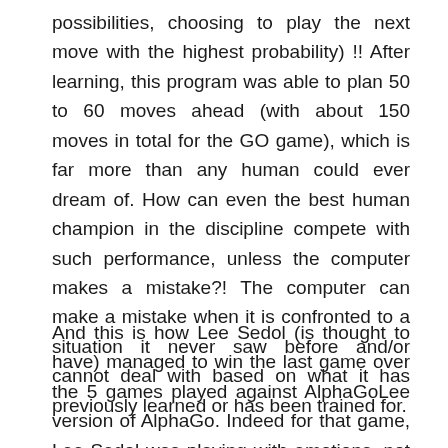possibilities, choosing to play the next move with the highest probability) !! After learning, this program was able to plan 50 to 60 moves ahead (with about 150 moves in total for the GO game), which is far more than any human could ever dream of. How can even the best human champion in the discipline compete with such performance, unless the computer makes a mistake?! The computer can make a mistake when it is confronted to a situation it never saw before and/or cannot deal with based on what it has previously learned or has been trained for.
And this is how Lee Sedol (is thought to have) managed to win the last game over the 5 games played against AlphaGoLee version of AlphaGo. Indeed for that game, Lee Sedol was playing with emotions, not anymore with strategies, therefore the computer could not deal did